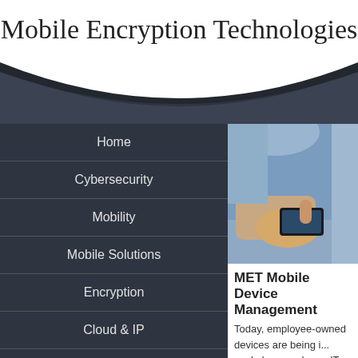Mobile Encryption Technologies
Home
Cybersecurity
Mobility
Mobile Solutions
Encryption
Cloud & IP
Telecom
Low Voltage
[Figure (photo): Person in blue shirt holding and using a smartphone]
MET Mobile Device Management
Today, employee-owned devices are being i... workplace, and your IT staff may have little... personal devices that access and store you...
Improve mobile visibility